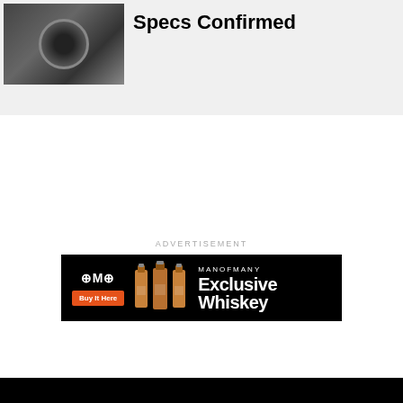[Figure (photo): Dark thumbnail image showing what appears to be a camera or electronic device on a grey background]
Specs Confirmed
ADVERTISEMENT
[Figure (infographic): Man of Many Exclusive Whiskey advertisement banner. Black background with Man of Many logo, Buy It Here orange button, three whiskey bottle images, and text reading MANOFMANY Exclusive Whiskey]